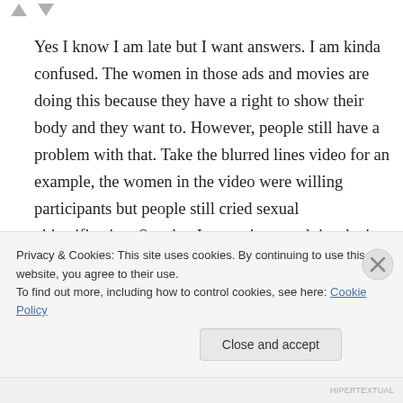Yes I know I am late but I want answers. I am kinda confused. The women in those ads and movies are doing this because they have a right to show their body and they want to. However, people still have a problem with that. Take the blurred lines video for an example, the women in the video were willing participants but people still cried sexual objectification. So what I am trying to ask is what’s the difference between those women in that video and girls who choose to
Privacy & Cookies: This site uses cookies. By continuing to use this website, you agree to their use.
To find out more, including how to control cookies, see here: Cookie Policy
HIPERTEXTUAL